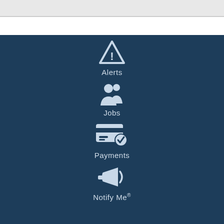[Figure (screenshot): Top grey bar section of a webpage]
Alerts
Jobs
Payments
Notify Me®